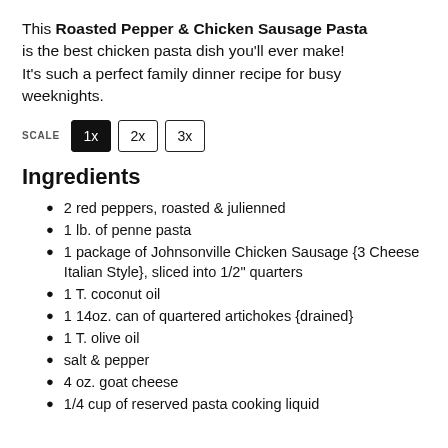This Roasted Pepper & Chicken Sausage Pasta is the best chicken pasta dish you'll ever make! It's such a perfect family dinner recipe for busy weeknights.
SCALE 1x 2x 3x
Ingredients
2 red peppers, roasted & julienned
1 lb. of penne pasta
1 package of Johnsonville Chicken Sausage {3 Cheese Italian Style}, sliced into 1/2" quarters
1 T. coconut oil
1 14oz. can of quartered artichokes {drained}
1 T. olive oil
salt & pepper
4 oz. goat cheese
1/4 cup of reserved pasta cooking liquid